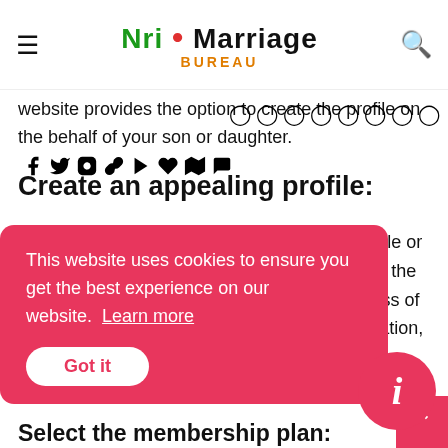NRI Marriage Bureau
website provides the option to create the profile on the behalf of your son or daughter.
Create an appealing profile:
Let your son or daughter create their own profile or else you get the information from them to fill in the form. There are different sections in the process of profile creation that involves the name, occupation, family
This website uses cookies to ensure you get the best experience on our website. Learn more
Got it
Select the membership plan: